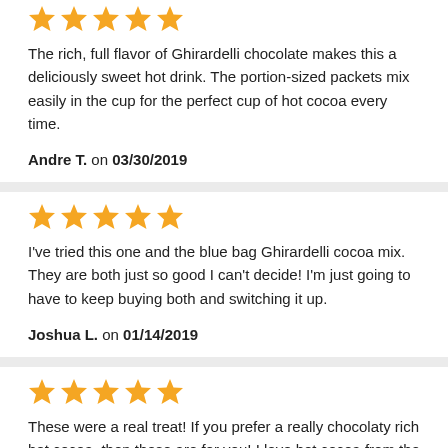[Figure (other): 5 gold star rating icons]
The rich, full flavor of Ghirardelli chocolate makes this a deliciously sweet hot drink. The portion-sized packets mix easily in the cup for the perfect cup of hot cocoa every time.
Andre T. on 03/30/2019
[Figure (other): 5 gold star rating icons]
I've tried this one and the blue bag Ghirardelli cocoa mix. They are both just so good I can't decide! I'm just going to have to keep buying both and switching it up.
Joshua L. on 01/14/2019
[Figure (other): 5 gold star rating icons]
These were a real treat! If you prefer a really chocolaty rich hot cocoa, then these are for you! I love hot cocoa from the store, for